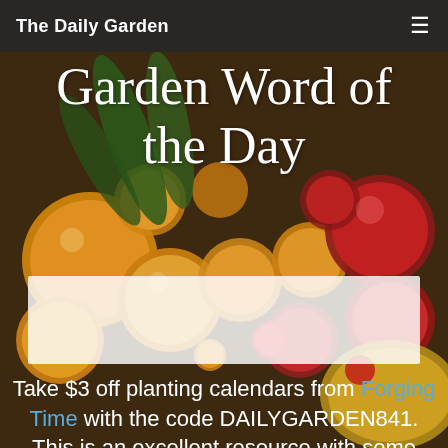[Figure (photo): Background photo of colorful cherry tomatoes (yellow, red, orange) and green leaves scattered on a surface, dark/warm toned.]
The Daily Garden
Garden Word of the Day
[Figure (other): White semi-transparent rectangular box overlaid on the image, likely containing an ad or image content that is blank/obscured.]
Take $3 off planting calendars from Forging Time with the code DAILYGARDEN841. This is an excellent resource with some